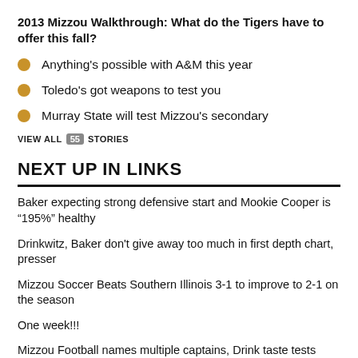2013 Mizzou Walkthrough: What do the Tigers have to offer this fall?
Anything's possible with A&M this year
Toledo's got weapons to test you
Murray State will test Mizzou's secondary
VIEW ALL 55 STORIES
NEXT UP IN LINKS
Baker expecting strong defensive start and Mookie Cooper is “195%” healthy
Drinkwitz, Baker don't give away too much in first depth chart, presser
Mizzou Soccer Beats Southern Illinois 3-1 to improve to 2-1 on the season
One week!!!
Mizzou Football names multiple captains, Drink taste tests Luther's chips